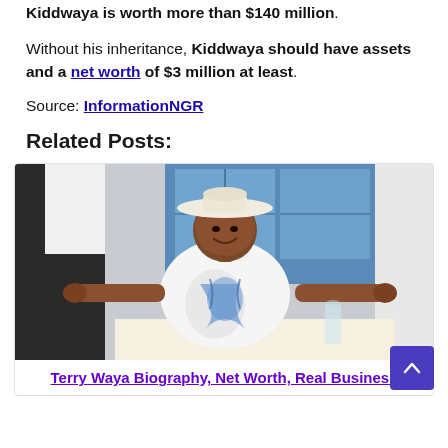Kiddwaya is worth more than $140 million.
Without his inheritance, Kiddwaya should have assets and a net worth of $3 million at least.
Source: InformationNGR
Related Posts:
[Figure (photo): Photo of Terry Waya, a man wearing a white hat and a white floral/graphic shirt, seated at a table in what appears to be a restaurant, arms spread wide, smiling at the camera.]
Terry Waya Biography, Net Worth, Real Business